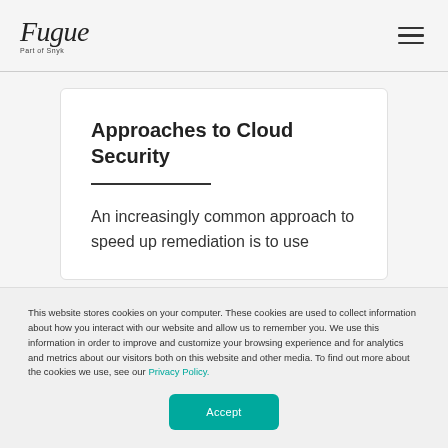Fugue Part of Snyk
Approaches to Cloud Security
An increasingly common approach to speed up remediation is to use
This website stores cookies on your computer. These cookies are used to collect information about how you interact with our website and allow us to remember you. We use this information in order to improve and customize your browsing experience and for analytics and metrics about our visitors both on this website and other media. To find out more about the cookies we use, see our Privacy Policy.
Accept